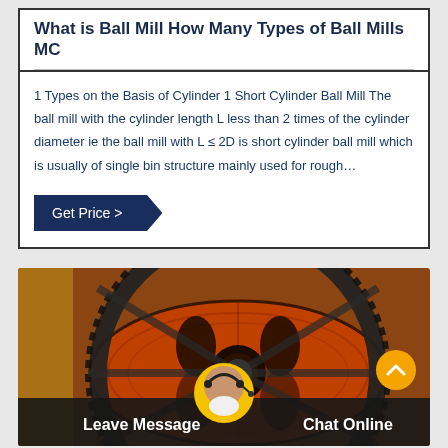What is Ball Mill How Many Types of Ball Mills MC
1 Types on the Basis of Cylinder 1 Short Cylinder Ball Mill The ball mill with the cylinder length L less than 2 times of the cylinder diameter ie the ball mill with L ≤ 2D is short cylinder ball mill which is usually of single bin structure mainly used for rough…
[Figure (photo): Photograph of a large orange/rust-colored ball mill drum with a large gear ring, showing industrial mining equipment. Bottom overlay shows a chat interface with Leave Message and Chat Online buttons, and an avatar of a customer service representative.]
Leave Message
Chat Online